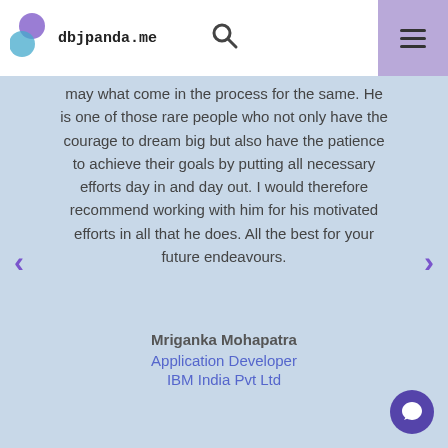dbjpanda.me
may what come in the process for the same. He is one of those rare people who not only have the courage to dream big but also have the patience to achieve their goals by putting all necessary efforts day in and day out. I would therefore recommend working with him for his motivated efforts in all that he does. All the best for your future endeavours.
Mriganka Mohapatra
Application Developer
IBM India Pvt Ltd